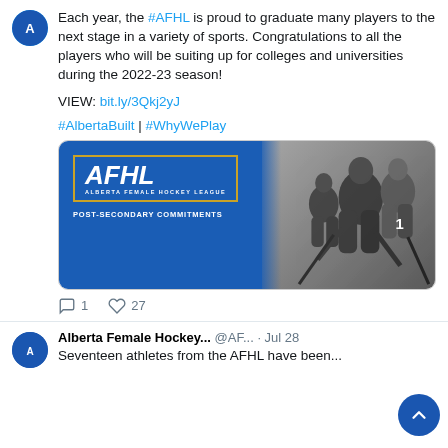Each year, the #AFHL is proud to graduate many players to the next stage in a variety of sports. Congratulations to all the players who will be suiting up for colleges and universities during the 2022-23 season!
VIEW: bit.ly/3Qkj2yJ
#AlbertaBuilt | #WhyWePlay
[Figure (illustration): Alberta Female Hockey League banner with blue background on left showing AFHL logo in gold border and 'POST-SECONDARY COMMITMENTS' text, and black-and-white photo of hockey players on right]
1 comment, 27 likes
Alberta Female Hockey... @AF... · Jul 28
Seventeen athletes from the AFHL have been...